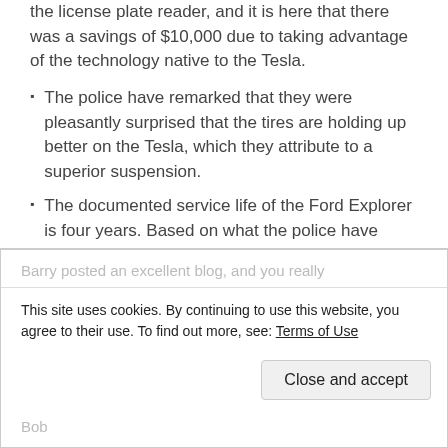the license plate reader, and it is here that there was a savings of $10,000 due to taking advantage of the technology native to the Tesla.
The police have remarked that they were pleasantly surprised that the tires are holding up better on the Tesla, which they attribute to a superior suspension.
The documented service life of the Ford Explorer is four years. Based on what the police have seen to date, they are planning for a six-year service life for the Model 3.
Barry posted an excellent blog, and you really
This site uses cookies. By continuing to use this website, you agree to their use. To find out more, see: Terms of Use
Bob